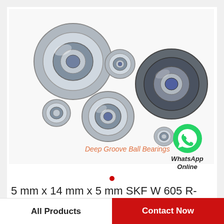[Figure (photo): Multiple deep groove ball bearings of various sizes arranged on a white background, with text label 'Deep Groove Ball Bearings' in orange italic and a WhatsApp Online icon to the right]
5 mm x 14 mm x 5 mm SKF W 605 R-2RS1 deep groove ball bearings
All Products
Contact Now